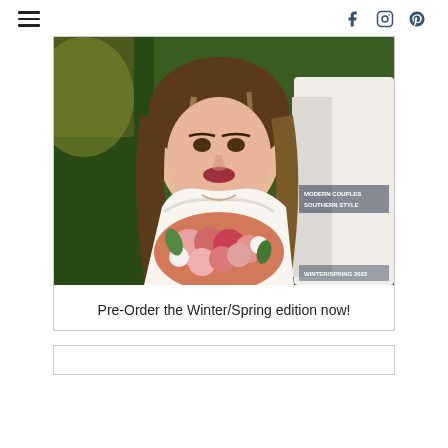[hamburger menu] [facebook] [instagram] [pinterest]
[Figure (photo): Magazine cover photo of a bride in a white strapless lace gown holding a large bouquet of pink, coral, and red flowers, with text overlays reading 'MODERN COUPLES SOUTHERN STYLE' and 'WINTER/SPRING 2022']
Pre-Order the Winter/Spring edition now!
[Figure (other): Bottom card stub - partially visible card border at the bottom of the page]